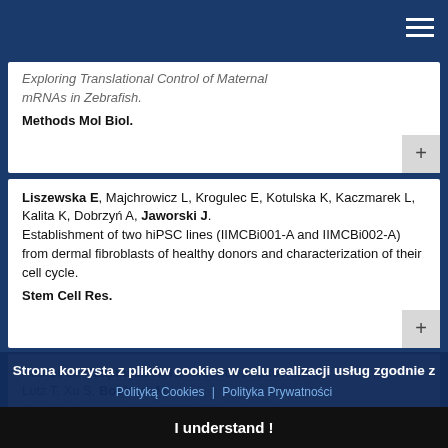Exploring Translational Control of Maternal mRNAs in Zebrafish. Methods Mol Biol.
Liszewska E, Majchrowicz L, Krogulec E, Kotulska K, Kaczmarek L, Kalita K, Dobrzyń A, Jaworski J. Establishment of two hiPSC lines (IIMCBi001-A and IIMCBi002-A) from dermal fibroblasts of healthy donors and characterization of their cell cycle. Stem Cell Res.
Pastor M, Czapinska H, Helbrecht I, Krakowska K, Lutz T, Xu S, Bochtler M. Crystal structures of the EVE-HNH endonuclease. Nucleic...
Strona korzysta z plików cookies w celu realizacji usług zgodnie z
Polityką Cookies | Polityka Prywatności
I understand !